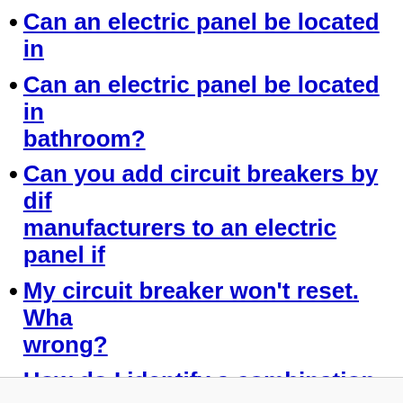Can an electric panel be located in
Can an electric panel be located in bathroom?
Can you add circuit breakers by different manufacturers to an electric panel if
My circuit breaker won't reset. What's wrong?
How do I identify a combination AFCI (CAFCI) circuit breaker?
What does a circuit breaker with a white test button indicate?